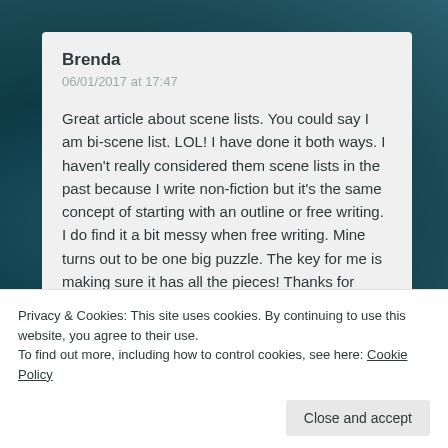Brenda
06/01/2017 at 17:47
Great article about scene lists. You could say I am bi-scene list. LOL! I have done it both ways. I haven't really considered them scene lists in the past because I write non-fiction but it's the same concept of starting with an outline or free writing. I do find it a bit messy when free writing. Mine turns out to be one big puzzle. The key for me is making sure it has all the pieces! Thanks for connecting on my blog!
Privacy & Cookies: This site uses cookies. By continuing to use this website, you agree to their use.
To find out more, including how to control cookies, see here: Cookie Policy
Close and accept